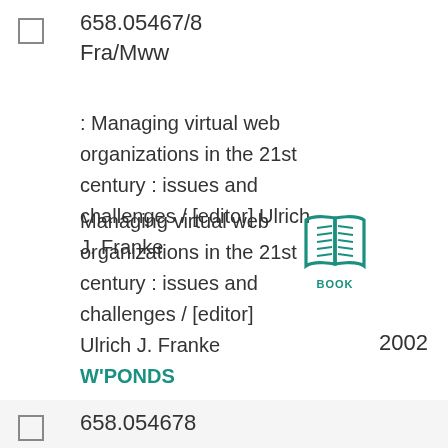658.05467/8 Fra/Mww
: Managing virtual web organizations in the 21st century : issues and challenges / [editor] Ulrich J. Franke
Managing virtual web organizations in the 21st century : issues and challenges / [editor] Ulrich J. Franke W'PONDS
[Figure (illustration): Book icon with open pages, teal/green color, labeled BOOK]
2002
658.054678